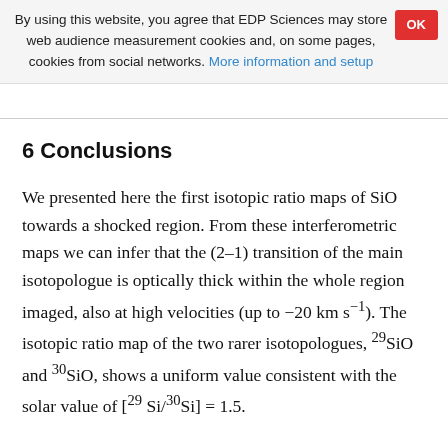By using this website, you agree that EDP Sciences may store web audience measurement cookies and, on some pages, cookies from social networks. More information and setup
6 Conclusions
We presented here the first isotopic ratio maps of SiO towards a shocked region. From these interferometric maps we can infer that the (2–1) transition of the main isotopologue is optically thick within the whole region imaged, also at high velocities (up to −20 km s−1). The isotopic ratio map of the two rarer isotopologues, 29SiO and 30SiO, shows a uniform value consistent with the solar value of [29 Si/30Si] = 1.5.